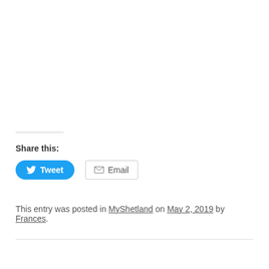Share this:
[Figure (other): Tweet button (blue rounded) and Email button (outlined)]
This entry was posted in MyShetland on May 2, 2019 by Frances.